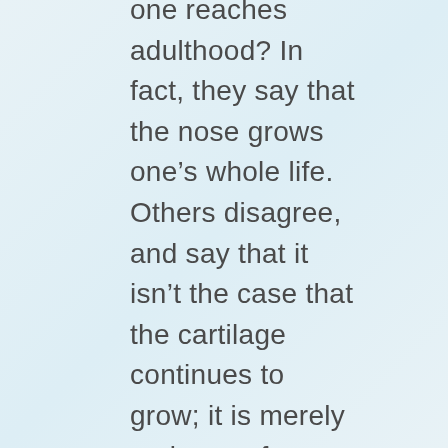one reaches adulthood? In fact, they say that the nose grows one’s whole life. Others disagree, and say that it isn’t the case that the cartilage continues to grow; it is merely an issue of gravity making it appear larger.